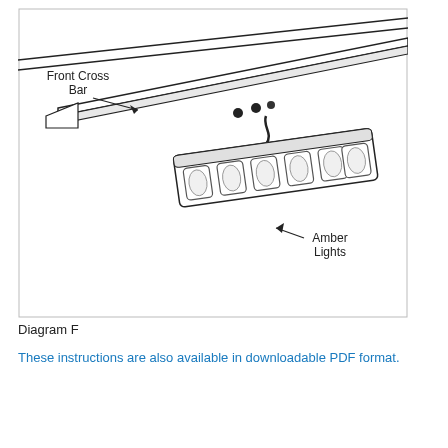[Figure (engineering-diagram): Engineering diagram showing a front cross bar of a vehicle roof rack with amber lights. A label 'Front Cross Bar' points with an arrow to the bar component. A label 'Amber Lights' points with an arrow to a strip light unit mounted below the bar, showing multiple lens slots and a wavy cord/wire connection.]
Diagram F
These instructions are also available in downloadable PDF format.